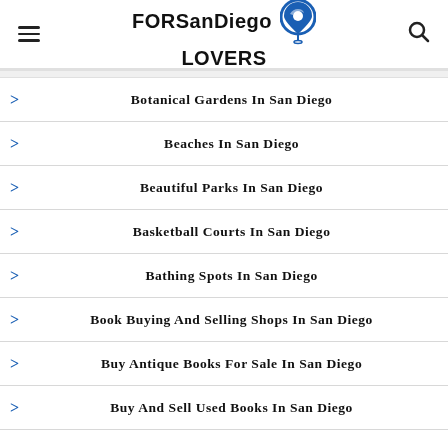FORSanDiegoLOVERS
Botanical Gardens In San Diego
Beaches In San Diego
Beautiful Parks In San Diego
Basketball Courts In San Diego
Bathing Spots In San Diego
Book Buying And Selling Shops In San Diego
Buy Antique Books For Sale In San Diego
Buy And Sell Used Books In San Diego